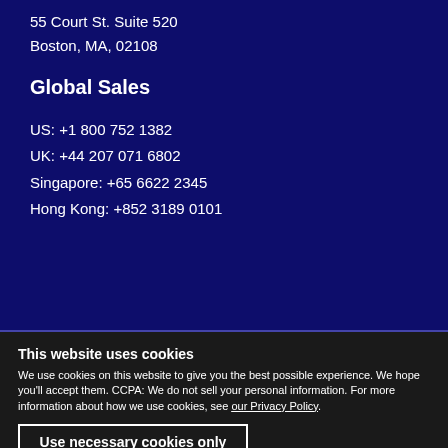55 Court St. Suite 520
Boston, MA, 02108
Global Sales
US: +1 800 752 1382
UK: +44 207 071 6802
Singapore: +65 6622 2345
Hong Kong: +852 3189 0101
This website uses cookies
We use cookies on this website to give you the best possible experience. We hope you'll accept them. CCPA: We do not sell your personal information. For more information about how we use cookies, see our Privacy Policy.
Use necessary cookies only
Allow all cookies
Show details